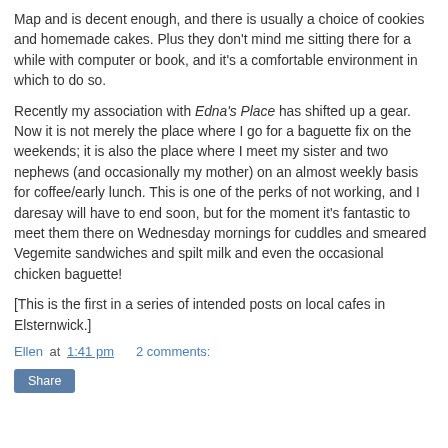Map and is decent enough, and there is usually a choice of cookies and homemade cakes. Plus they don't mind me sitting there for a while with computer or book, and it's a comfortable environment in which to do so.
Recently my association with Edna's Place has shifted up a gear. Now it is not merely the place where I go for a baguette fix on the weekends; it is also the place where I meet my sister and two nephews (and occasionally my mother) on an almost weekly basis for coffee/early lunch. This is one of the perks of not working, and I daresay will have to end soon, but for the moment it's fantastic to meet them there on Wednesday mornings for cuddles and smeared Vegemite sandwiches and spilt milk and even the occasional chicken baguette!
[This is the first in a series of intended posts on local cafes in Elsternwick.]
Ellen at 1:41 pm    2 comments: